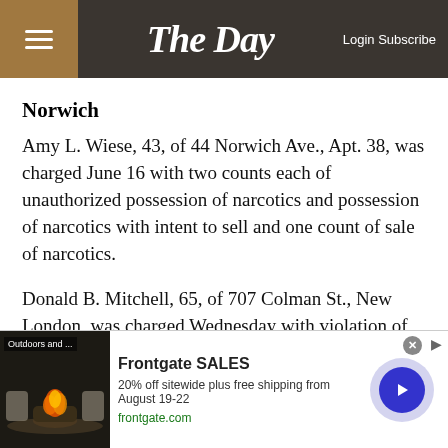The Day  Login Subscribe
Norwich
Amy L. Wiese, 43, of 44 Norwich Ave., Apt. 38, was charged June 16 with two counts each of unauthorized possession of narcotics and possession of narcotics with intent to sell and one count of sale of narcotics.
Donald B. Mitchell, 65, of 707 Colman St., New London, was charged Wednesday with violation of probation and first-degree failure to appear in court.
Stonington
[Figure (other): Frontgate SALES advertisement banner — 20% off sitewide plus free shipping from August 19-22. frontgate.com. Shows outdoor patio furniture with fire pit.]